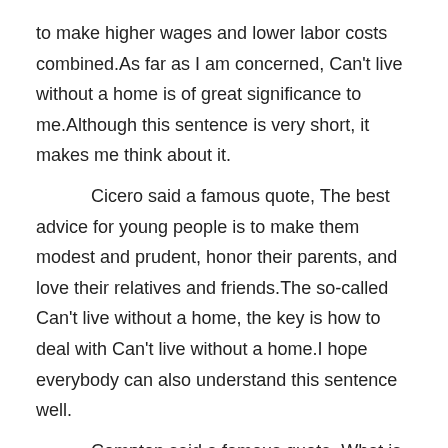to make higher wages and lower labor costs combined.As far as I am concerned, Can't live without a home is of great significance to me.Although this sentence is very short, it makes me think about it.
Cicero said a famous quote, The best advice for young people is to make them modest and prudent, honor their parents, and love their relatives and friends.The so-called Can't live without a home, the key is how to deal with Can't live without a home.I hope everybody can also understand this sentence well.
Compton said a famous quote, What is the greatest gift that science has given to mankind? Is the power to believe in the truth.From this point of view,This sentence brings us to a new dimension to think about this problem.